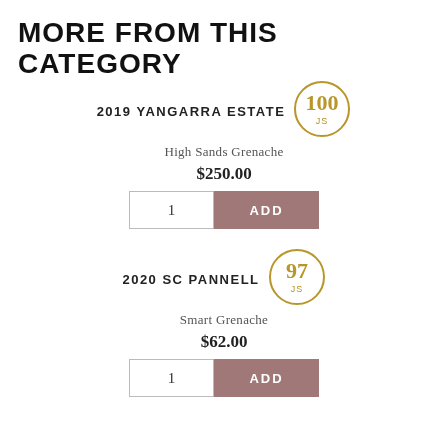MORE FROM THIS CATEGORY
2019 YANGARRA ESTATE
High Sands Grenache
$250.00
[Figure (infographic): Gold circle badge with '100' and 'JS' text]
2020 SC PANNELL
Smart Grenache
$62.00
[Figure (infographic): Gold circle badge with '97' and 'JS' text]